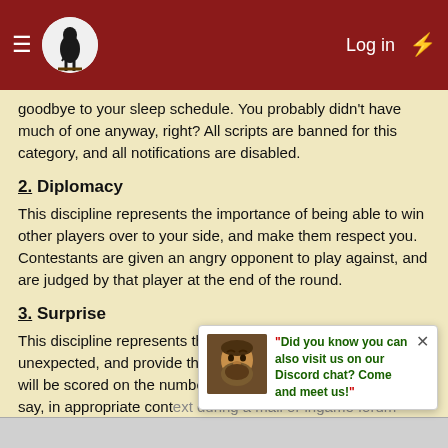≡  [logo]  Log in  ⚡
goodbye to your sleep schedule. You probably didn't have much of one anyway, right? All scripts are banned for this category, and all notifications are disabled.
2. Diplomacy
This discipline represents the importance of being able to win other players over to your side, and make them respect you. Contestants are given an angry opponent to play against, and are judged by that player at the end of the round.
3. Surprise
This discipline represents the ability to both expect the unexpected, and provide the unexpected for others. Players will be scored on the number of times that they are able to say, in appropriate context during a mail or ingame forum conversation, that nobody expects the Spanish Inquisition!. Players receive double points each time another player says this to them, following the same rules.
"Did you know you can also visit us on our Discord chat? Come and meet us!